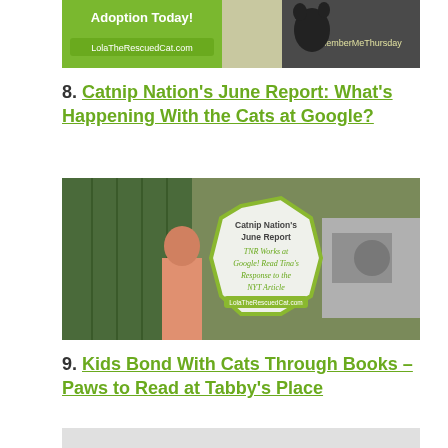[Figure (photo): Banner image for LolaTheRescuedCat.com with cat adoption text and #RememberMeThursday hashtag]
8. Catnip Nation’s June Report: What’s Happening With the Cats at Google?
[Figure (photo): Catnip Nation June Report image showing cats and TNR Works at Google, read Tina's Response to the NYT Article, LolaTheRescuedCat.com]
9. Kids Bond With Cats Through Books – Paws to Read at Tabby’s Place